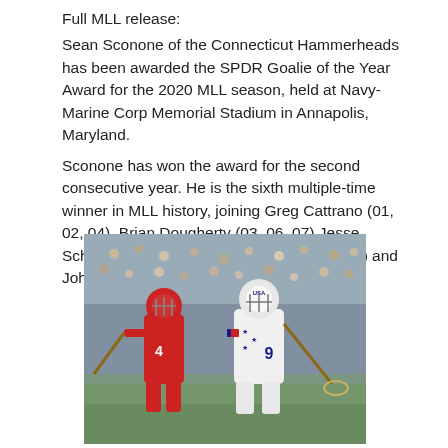Full MLL release:
Sean Sconone of the Connecticut Hammerheads has been awarded the SPDR Goalie of the Year Award for the 2020 MLL season, held at Navy-Marine Corp Memorial Stadium in Annapolis, Maryland.
Sconone has won the award for the second consecutive year. He is the sixth multiple-time winner in MLL history, joining Greg Cattrano (01, 02, 04), Brian Dougherty (03, 06, 07) Jesse Schwartzman (09, 13), Drew Adams (11, 12) and John Galloway (16, 18).
[Figure (photo): Two lacrosse players on field — one in red uniform (number 4), one in white USA uniform (number 9) wearing a USA helmet, with a large crowd in the background.]